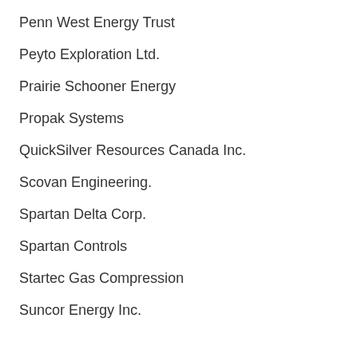Penn West Energy Trust
Peyto Exploration Ltd.
Prairie Schooner Energy
Propak Systems
QuickSilver Resources Canada Inc.
Scovan Engineering.
Spartan Delta Corp.
Spartan Controls
Startec Gas Compression
Suncor Energy Inc.